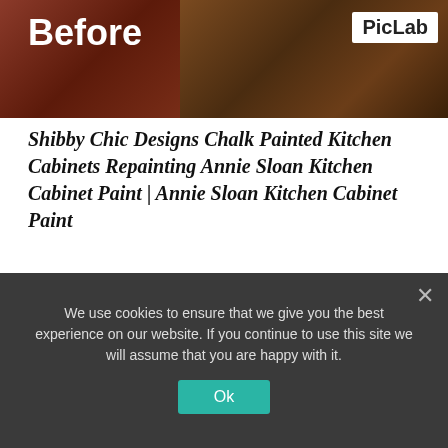[Figure (photo): Before and after photo of kitchen cabinets with PicLab watermark. Left side shows reddish-brown cabinets, right side shows dark brown cabinets. 'Before' label in white bold text on left, 'PicLab' badge in upper right corner.]
Shibby Chic Designs Chalk Painted Kitchen Cabinets Repainting Annie Sloan Kitchen Cabinet Paint | Annie Sloan Kitchen Cabinet Paint
Ferreira says a lot of cabinets she works on are in abundant action and alone anachronous or abominable in agreement of color. Add new paint, new hardware, new counters and/or a new backsplash and it's a almighty transformation forth the curve of a cast new kitchen, at a atom of
We use cookies to ensure that we give you the best experience on our website. If you continue to use this site we will assume that you are happy with it.